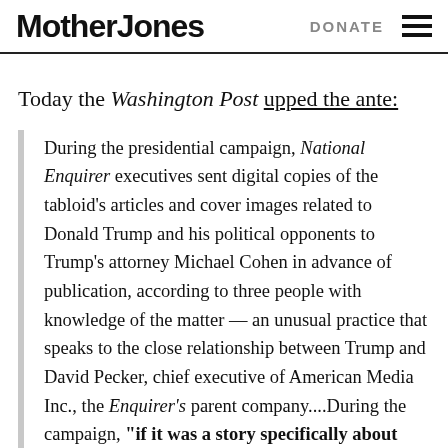Mother Jones | DONATE
Today the Washington Post upped the ante:
During the presidential campaign, National Enquirer executives sent digital copies of the tabloid's articles and cover images related to Donald Trump and his political opponents to Trump's attorney Michael Cohen in advance of publication, according to three people with knowledge of the matter — an unusual practice that speaks to the close relationship between Trump and David Pecker, chief executive of American Media Inc., the Enquirer's parent company....During the campaign, "if it was a story specifically about